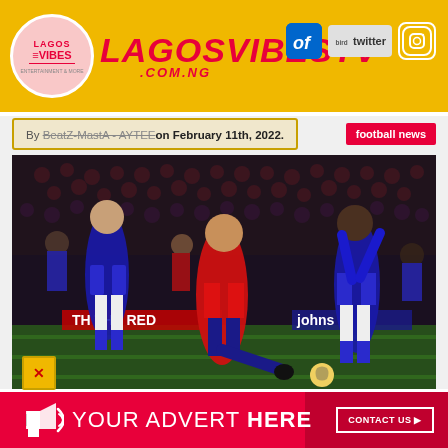LAGOSVIBESV .COM.NG
By BeatZ-MastA - AYTEE on February 11th, 2022.
football news
[Figure (photo): Football match action photo showing a Liverpool player in red kit shooting at goal surrounded by Leicester City players in blue/white kits, night match at Anfield]
YOUR ADVERT HERE
CONTACT US ▶